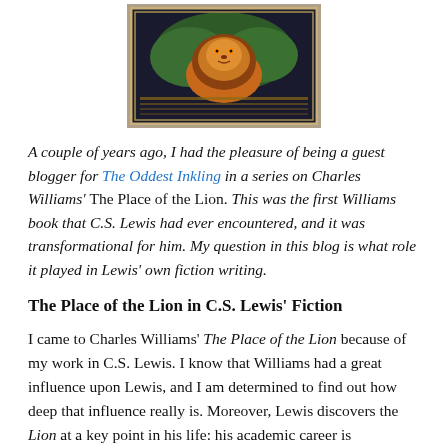[Figure (illustration): Book cover image of 'The Place of the Lion' showing a colorful lion illustration with green and orange tones, framed with a border.]
A couple of years ago, I had the pleasure of being a guest blogger for The Oddest Inkling in a series on Charles Williams' The Place of the Lion. This was the first Williams book that C.S. Lewis had ever encountered, and it was transformational for him. My question in this blog is what role it played in Lewis' own fiction writing.
The Place of the Lion in C.S. Lewis' Fiction
I came to Charles Williams' The Place of the Lion because of my work in C.S. Lewis. I know that Williams had a great influence upon Lewis, and I am determined to find out how deep that influence really is. Moreover, Lewis discovers the Lion at a key point in his life: his academic career is